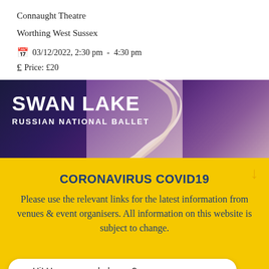Connaught Theatre
Worthing West Sussex
03/12/2022, 2:30 pm - 4:30 pm
Price: £20
[Figure (photo): Swan Lake Russian National Ballet promotional banner with dark purple floral background and a ballet dancer's arm raised elegantly. White bold text reads 'SWAN LAKE' and 'RUSSIAN NATIONAL BALLET'.]
CORONAVIRUS COVID19
Please use the relevant links for the latest information from venues & event organisers. All information on this website is subject to change.
Hi! How can we help you?